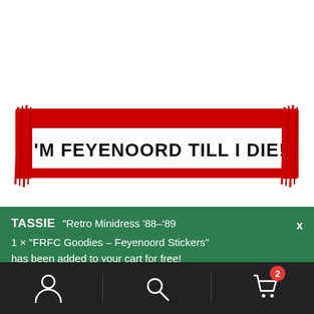[Figure (photo): A red and white Feyenoord football scarf with black text reading 'I'M FEYENOORD TILL I DIE!' with red fringe on both ends, displayed on a white background.]
TASSIE  "Retro Minidress '88–'89
1 × "FRFC Goodies – Feyenoord Stickers" has been added to your cart for free!
[Figure (infographic): Bottom navigation bar with person/account icon, search/magnifying glass icon, and shopping cart icon with a red badge showing the number 2.]